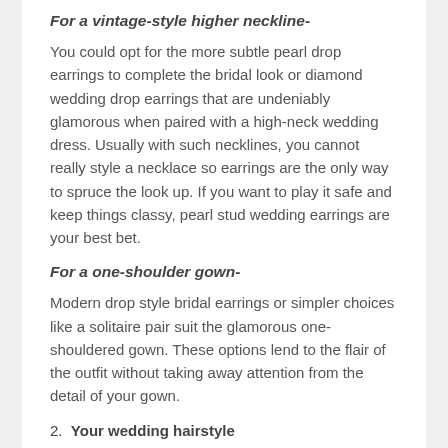For a vintage-style higher neckline-
You could opt for the more subtle pearl drop earrings to complete the bridal look or diamond wedding drop earrings that are undeniably glamorous when paired with a high-neck wedding dress. Usually with such necklines, you cannot really style a necklace so earrings are the only way to spruce the look up. If you want to play it safe and keep things classy, pearl stud wedding earrings are your best bet.
For a one-shoulder gown-
Modern drop style bridal earrings or simpler choices like a solitaire pair suit the glamorous one-shouldered gown. These options lend to the flair of the outfit without taking away attention from the detail of your gown.
2. Your wedding hairstyle